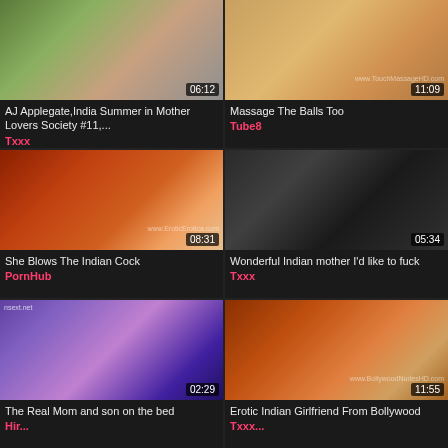[Figure (screenshot): Video thumbnail grid item 1 - outdoor scene, duration 06:12, title: AJ Applegate,India Summer in Mother Lovers Society #11,..., source: Txxx]
[Figure (screenshot): Video thumbnail grid item 2 - massage scene, duration 11:09, title: Massage The Balls Too, source: Tube8]
[Figure (screenshot): Video thumbnail grid item 3 - candlelit scene, duration 08:31, title: She Blows The Indian Cock, source: PornHub]
[Figure (screenshot): Video thumbnail grid item 4 - dark room scene, duration 05:34, title: Wonderful Indian mother I'd like to fuck, source: Txxx]
[Figure (screenshot): Video thumbnail grid item 5 - bedroom scene, duration 02:29, watermark: nsext.net, title: The Real Mom and son on the bed, source: [cut off]]
[Figure (screenshot): Video thumbnail grid item 6 - sari scene, duration 11:55, watermark: www.BollywoodNudesHD.com, title: Erotic Indian Girlfriend From Bollywood, source: [cut off]]